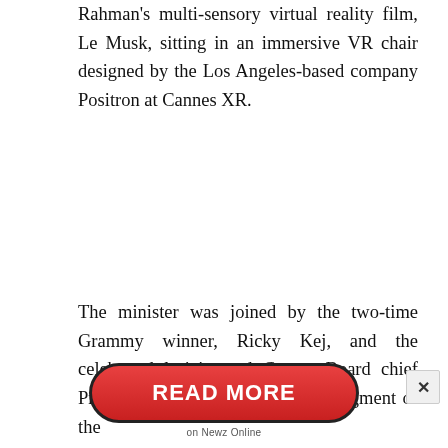Rahman's multi-sensory virtual reality film, Le Musk, sitting in an immersive VR chair designed by the Los Angeles-based company Positron at Cannes XR.
The minister was joined by the two-time Grammy winner, Ricky Kej, and the celebrated lyricist and Censor Board chief Prasoon Joshi. Cannes XR is the segment of the
[Figure (other): READ MORE button in red rounded rectangle style, with 'on Newz Online' label below]